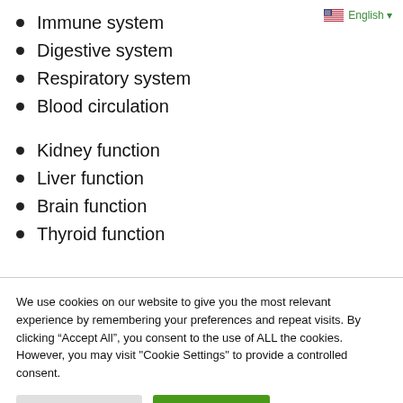Immune system
Digestive system
Respiratory system
Blood circulation
Kidney function
Liver function
Brain function
Thyroid function
We use cookies on our website to give you the most relevant experience by remembering your preferences and repeat visits. By clicking “Accept All”, you consent to the use of ALL the cookies. However, you may visit "Cookie Settings" to provide a controlled consent.